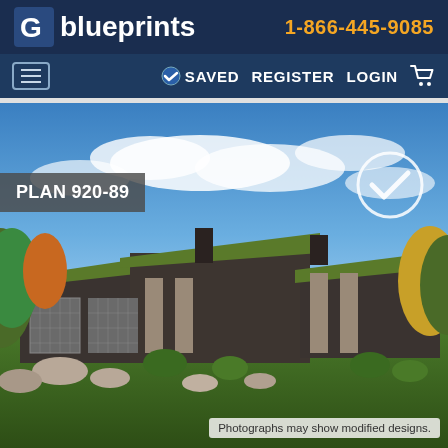blueprints  1-866-445-9085
SAVED  REGISTER  LOGIN
[Figure (photo): 3D rendered exterior photo of a modern ranch-style house plan 920-89 with green roofs, stone accents, and landscaping under a blue sky with clouds]
Photographs may show modified designs.